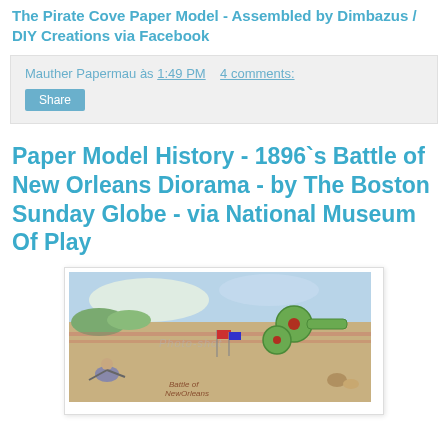The Pirate Cove Paper Model - Assembled by Dimbazus / DIY Creations via Facebook
Mauther Papermau às 1:49 PM    4 comments:
Share
Paper Model History - 1896`s Battle of New Orleans Diorama - by The Boston Sunday Globe - via National Museum Of Play
[Figure (photo): Vintage paper model diorama depicting the Battle of New Orleans, from The Boston Sunday Globe 1896, showing soldiers, a cannon, and battlefield scene with watermark overlay.]